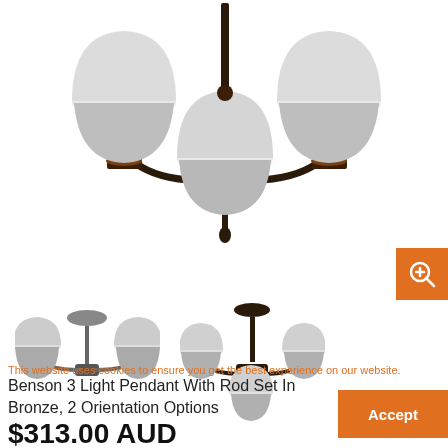[Figure (photo): Three-light bronze chandelier pendant with frosted glass shades, viewed from below at an angle. Dark bronze finish arms with white frosted bowl-shaped shades.]
[Figure (photo): Small thumbnail image of a grey/silver two-light pendant with frosted glass shades.]
[Figure (photo): Small thumbnail image of a three-light bronze pendant with frosted glass shades, viewed from below.]
This website uses cookies to ensure you get the best experience on our website.
Benson 3 Light Pendant With Rod Set In Bronze, 2 Orientation Options
$313.00 AUD
Accept